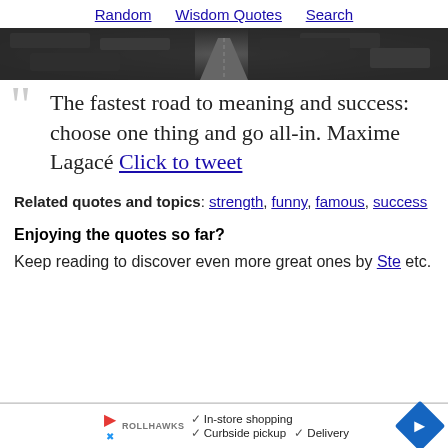Random   Wisdom Quotes   Search
[Figure (photo): Black and white aerial photo of a road through forest trees]
"The fastest road to meaning and success: choose one thing and go all-in. Maxime Lagacé Click to tweet
Related quotes and topics: strength, funny, famous, success
Enjoying the quotes so far?
Keep reading to discover even more great ones by Ste... etc.
[Figure (screenshot): Advertisement overlay showing In-store shopping, Curbside pickup, Delivery with a blue navigation icon]